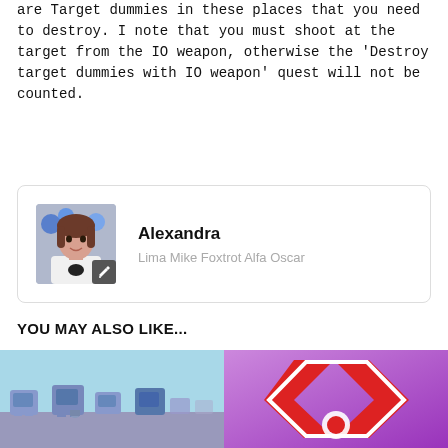are Target dummies in these places that you need to destroy. I note that you must shoot at the target from the IO weapon, otherwise the 'Destroy target dummies with IO weapon' quest will not be counted.
[Figure (other): Author card with avatar photo of Alexandra (woman with brown hair, white outfit, blue balloons in background), name 'Alexandra', subtitle 'Lima Mike Foxtrot Alfa Oscar', and a small edit icon on the avatar]
YOU MAY ALSO LIKE...
[Figure (photo): Thumbnail image of robotic target dummy machines on a blue-grey surface with light blue sky background]
[Figure (photo): Thumbnail image of a red and white angular logo or symbol on a purple/pink gradient background]